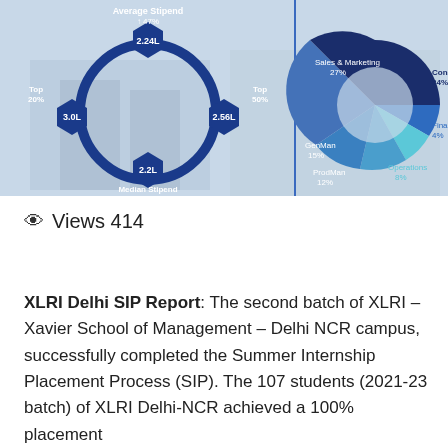[Figure (infographic): Left side: donut-ring with hexagonal nodes showing Average Stipend ↑47%, top node 2.24L, left node 3.0L (Top 20%), right node 2.56L (Top 50%), bottom node 2.2L, Median Stipend ↑46%. Right side: donut chart showing placement by sector: Consulting 34%, Sales & Marketing 27%, GenMan 15%, ProdMan 12%, Operations 8%, Finance 4%.]
Views 414
XLRI Delhi SIP Report: The second batch of XLRI – Xavier School of Management – Delhi NCR campus, successfully completed the Summer Internship Placement Process (SIP). The 107 students (2021-23 batch) of XLRI Delhi-NCR achieved a 100% placement